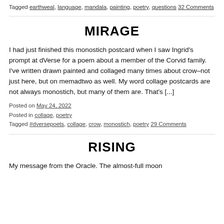Tagged earthweal, language, mandala, painting, poetry, questions 32 Comments
MIRAGE
I had just finished this monostich postcard when I saw Ingrid's prompt at dVerse for a poem about a member of the Corvid family. I've written drawn painted and collaged many times about crow–not just here, but on memadtwo as well. My word collage postcards are not always monostich, but many of them are. That's [...]
Posted on May 24, 2022
Posted in collage, poetry
Tagged #dversepoets, collage, crow, monostich, poetry 29 Comments
RISING
My message from the Oracle. The almost-full moon